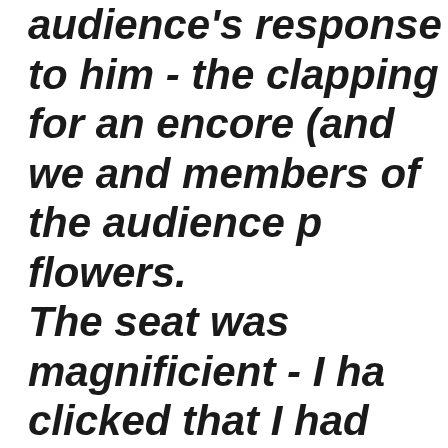audience's response to him - the clapping for an encore (and we and members of the audience p flowers. The seat was magnificient - I ha clicked that I had been upgrade 10 rows away from the performe fantastic. Thank you for making my trip to Petersburg so memorable.